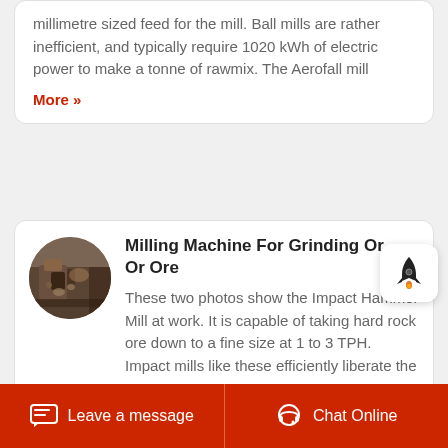millimetre sized feed for the mill. Ball mills are rather inefficient, and typically require 1020 kWh of electric power to make a tonne of rawmix. The Aerofall mill
More »
Milling Machine For Grinding Or Ore
[Figure (photo): Circular thumbnail photo of an impact hammer mill or ore grinding machine in operation, showing metallic machinery with ore/rock material.]
These two photos show the Impact Hammer Mill at work. It is capable of taking hard rock ore down to a fine size at 1 to 3 TPH. Impact mills like these efficiently liberate the
Leave a message   Chat Online